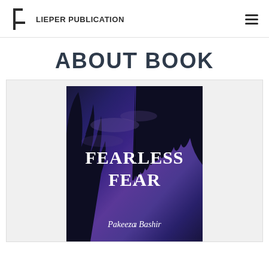LIEPER PUBLICATION
ABOUT BOOK
[Figure (illustration): Book cover for 'Fearless Fear' by Pakeeza Bashir. Dark blue-purple night sky background with tree silhouettes and a moon glow. White bold serif text reads 'FEARLESS FEAR' and italic text below reads 'Pakeeza Bashir'.]